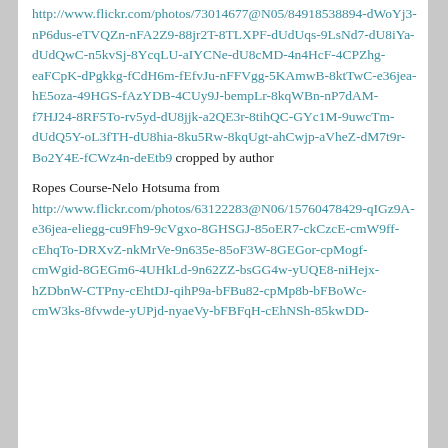http://www.flickr.com/photos/73014677@N05/84918538894-dWoYj3-nP6dus-eTVQZn-nFA2Z9-88jr2T-8TLXPF-dUdUqs-9LsNd7-dU8iYa-dUdQwC-n5kvSj-8YcqLU-aIYCNe-dU8cMD-4n4HcF-4CPZhg-eaFCpK-dPgkkg-fCdH6m-fEfvJu-nFFVgg-5KAmwB-8ktTwC-e36jea-hE5oza-49HGS-fAzYDB-4CUy9J-bempLr-8kqWBn-nP7dAM-f7HJ24-8RF5To-rv5yd-dU8jjk-a2QE3r-8tihQC-GYc1M-9uwcTm-dUdQ5Y-oL3fTH-dU8hia-8ku5Rw-8kqUgt-ahCwjp-aVheZ-dM7t9r-Bo2Y4E-fCWz4n-deEtb9 cropped by author
Ropes Course-Nelo Hotsuma from http://www.flickr.com/photos/63122283@N06/15760478429-qIGz9A-e36jea-eliegg-cu9Fh9-9cVgxo-8GHSGJ-85oER7-ckCzcE-cmW9ff-cEhqTo-DRXvZ-nkMrVe-9n635e-85oF3W-8GEGor-cpMogf-cmWgid-8GEGm6-4UHkLd-9n62ZZ-bsGG4w-yUQE8-niHejx-hZDbnW-CTPny-cEhtDJ-qihP9a-bFBu82-cpMp8b-bFBoWc-cmW3ks-8fvwde-yUPjd-nyaeVy-bFBFqH-cEhNSh-85kwDD-...